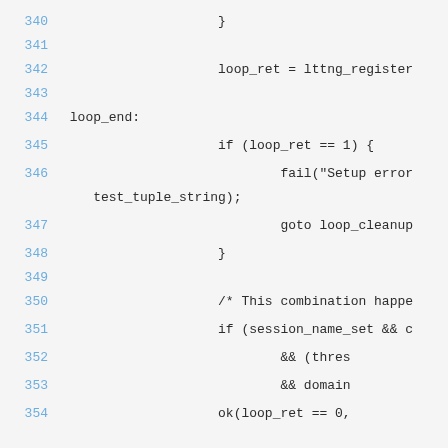340     }
341
342             loop_ret = lttng_register
343
344  loop_end:
345             if (loop_ret == 1) {
346                     fail("Setup error    test_tuple_string);
347                     goto loop_cleanup
348             }
349
350             /* This combination happe
351             if (session_name_set && c
352                     && (thres
353                     && domain
354             ok(loop_ret == 0,